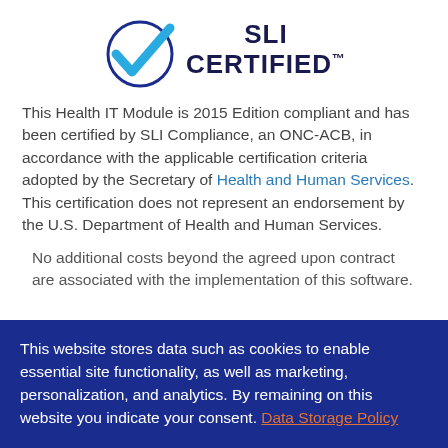[Figure (logo): SLI Certified logo: a circle with a large blue checkmark, next to bold text reading 'SLI CERTIFIED' with a trademark symbol]
This Health IT Module is 2015 Edition compliant and has been certified by SLI Compliance, an ONC-ACB, in accordance with the applicable certification criteria adopted by the Secretary of Health and Human Services. This certification does not represent an endorsement by the U.S. Department of Health and Human Services.
No additional costs beyond the agreed upon contract are associated with the implementation of this software.
This website stores data such as cookies to enable essential site functionality, as well as marketing, personalization, and analytics. By remaining on this website you indicate your consent. Data Storage Policy